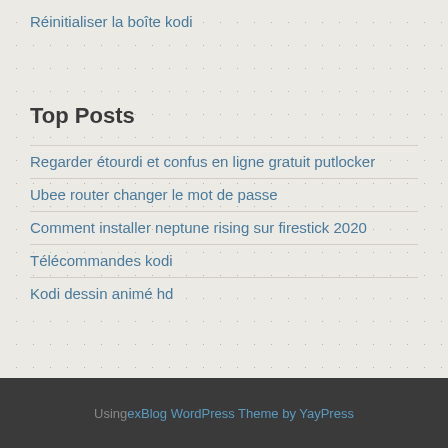Réinitialiser la boîte kodi
Top Posts
Regarder étourdi et confus en ligne gratuit putlocker
Ubee router changer le mot de passe
Comment installer neptune rising sur firestick 2020
Télécommandes kodi
Kodi dessin animé hd
Using exBlog WordPress Theme by YayPress